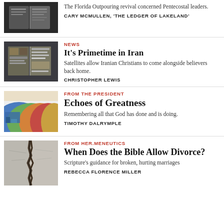[Figure (photo): Open book/magazine on dark background]
The Florida Outpouring revival concerned Pentecostal leaders.
CARY MCMULLEN, 'THE LEDGER OF LAKELAND'
[Figure (photo): Open magazine spread with images]
NEWS
It's Primetime in Iran
Satellites allow Iranian Christians to come alongside believers back home.
CHRISTOPHER LEWIS
[Figure (illustration): Colorful layered circular shapes]
FROM THE PRESIDENT
Echoes of Greatness
Remembering all that God has done and is doing.
TIMOTHY DALRYMPLE
[Figure (photo): Cracked stone/wall texture]
FROM HER.MENEUTICS
When Does the Bible Allow Divorce?
Scripture's guidance for broken, hurting marriages
REBECCA FLORENCE MILLER